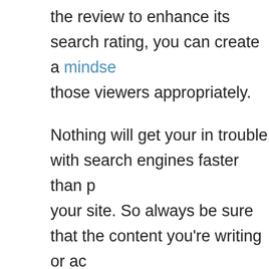the review to enhance its search rating, you can create a mindse those viewers appropriately.
Nothing will get your in trouble with search engines faster than p your site. So always be sure that the content you're writing or ac is 100% original and is not found elsewhere on the web. If you o rewriting an article, it needs to be completely reworked. The topi the wording cannot.
Remember to effectively use the description meta tag on your we what search engines will use to summarize what a page on your engines will generally use a maximum of 160 characters for this Using the description meta tag, will go a long way toward boostin
Search engines work very quickly, but they do not like to dig dee